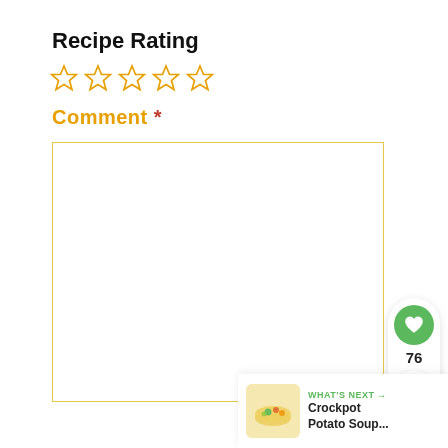Recipe Rating
[Figure (other): Five empty star rating icons in orange/gold color]
Comment *
[Figure (other): Empty comment text area box with gold/yellow border]
[Figure (other): Social sidebar with green heart button showing 76 likes and a share button]
[Figure (other): What's Next panel showing Crockpot Potato Soup thumbnail with green arrow label]